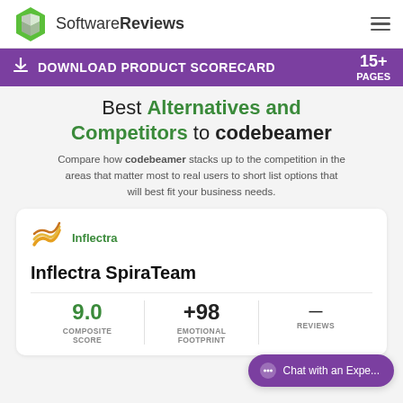[Figure (logo): SoftwareReviews logo with green hexagon icon and text 'SoftwareReviews']
DOWNLOAD PRODUCT SCORECARD   15+ PAGES
Best Alternatives and Competitors to codebeamer
Compare how codebeamer stacks up to the competition in the areas that matter most to real users to short list options that will best fit your business needs.
[Figure (logo): Inflectra logo with yellow-orange wave lines]
Inflectra
Inflectra SpiraTeam
9.0 COMPOSITE SCORE
+98 EMOTIONAL FOOTPRINT
REVIEWS
Chat with an Expe...